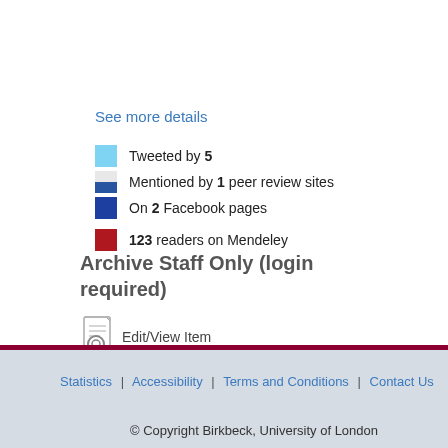See more details
Tweeted by 5
Mentioned by 1 peer review sites
On 2 Facebook pages
123 readers on Mendeley
Archive Staff Only (login required)
Edit/View Item
Statistics | Accessibility | Terms and Conditions | Contact Us
© Copyright Birkbeck, University of London